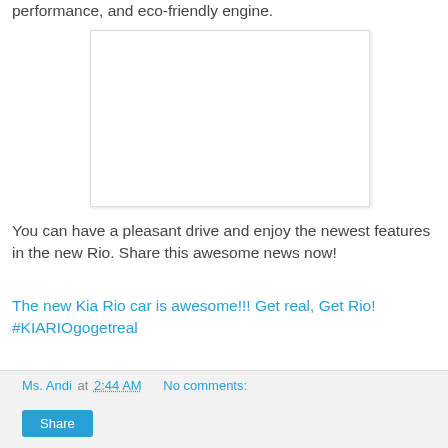performance, and eco-friendly engine.
[Figure (photo): Blank white image placeholder with light border and shadow]
You can have a pleasant drive and enjoy the newest features in the new Rio. Share this awesome news now!
The new Kia Rio car is awesome!!! Get real, Get Rio! #KIARIOgogetreal
Ms. Andi at 2:44 AM    No comments:
Share